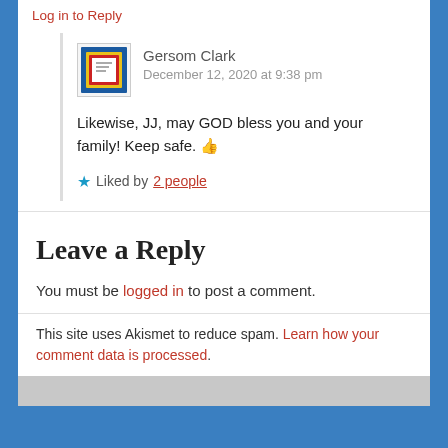Log in to Reply
Gersom Clark
December 12, 2020 at 9:38 pm
Likewise, JJ, may GOD bless you and your family! Keep safe. 👍
★ Liked by 2 people
Leave a Reply
You must be logged in to post a comment.
This site uses Akismet to reduce spam. Learn how your comment data is processed.